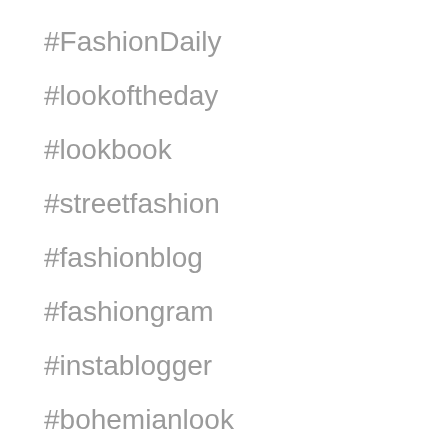#FashionDaily
#lookoftheday
#lookbook
#streetfashion
#fashionblog
#fashiongram
#instablogger
#bohemianlook